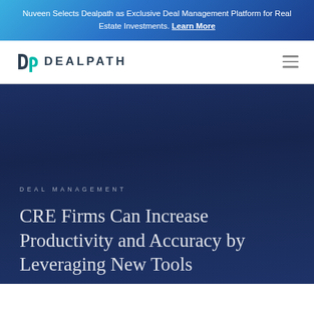Nuveen Selects Dealpath as Exclusive Deal Management Platform for Real Estate Investments. Learn More
[Figure (logo): Dealpath logo with stylized 'dp' icon and DEALPATH wordmark in dark letters]
DEAL MANAGEMENT
CRE Firms Can Increase Productivity and Accuracy by Leveraging New Tools